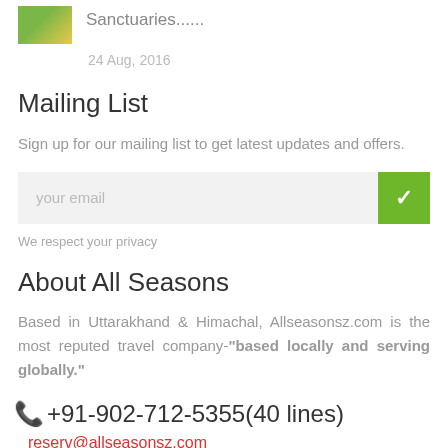[Figure (photo): Small thumbnail image of green/yellow foliage or nature scene, partially visible at top left]
Sanctuaries......
24 Aug, 2016
Mailing List
Sign up for our mailing list to get latest updates and offers.
your email
We respect your privacy
About All Seasons
Based in Uttarakhand & Himachal, Allseasonsz.com is the most reputed travel company-"based locally and serving globally."
📞+91-902-712-5355(40 lines)
reserv@allseasonsz.com